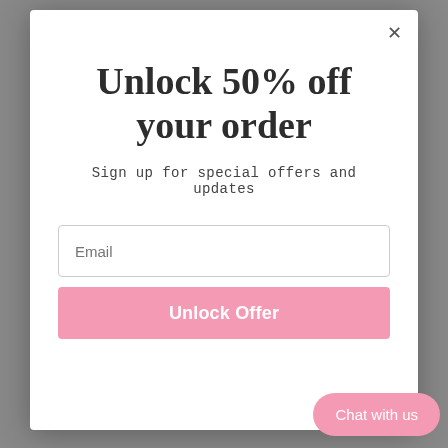[Figure (screenshot): Dark background showing a fashion/clothing website behind a modal popup]
Unlock 50% off your order
Sign up for special offers and updates
Email (input field placeholder)
Unlock Offer (button)
Chat with us (button)